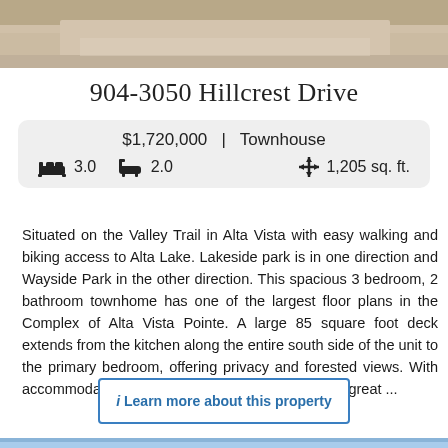[Figure (photo): Top portion of a road or path photo, partially visible at the top of the page]
904-3050 Hillcrest Drive
$1,720,000  |  Townhouse  —  3.0 beds  2.0 baths  1,205 sq. ft.
Situated on the Valley Trail in Alta Vista with easy walking and biking access to Alta Lake. Lakeside park is in one direction and Wayside Park in the other direction. This spacious 3 bedroom, 2 bathroom townhome has one of the largest floor plans in the Complex of Alta Vista Pointe. A large 85 square foot deck extends from the kitchen along the entire south side of the unit to the primary bedroom, offering privacy and forested views. With accommodation arranged all on one level, this is a great ...
i Learn more about this property
[Figure (photo): Bottom portion of a mountain/forest scene with blue sky and evergreen trees, partially visible at the bottom of the page]